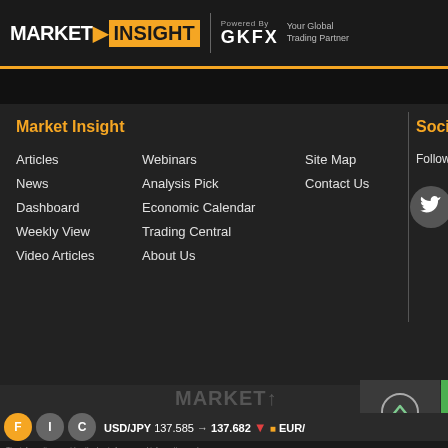MARKET INSIGHT | Powered By GKFX | Your Global Trading Partner
Market Insight
Articles
News
Dashboard
Weekly View
Video Articles
Webinars
Analysis Pick
Economic Calendar
Trading Central
About Us
Site Map
Contact Us
Social Media
Follow us on social m
[Figure (logo): Twitter, Facebook, YouTube social media icons]
[Figure (logo): MARKET watermark logo and copyright ©2022 GKFX All Rights Reserved]
Top Page
USD/JPY 137.585 → 137.682 ▼ EUR/
The information provides the basis for general information and any use